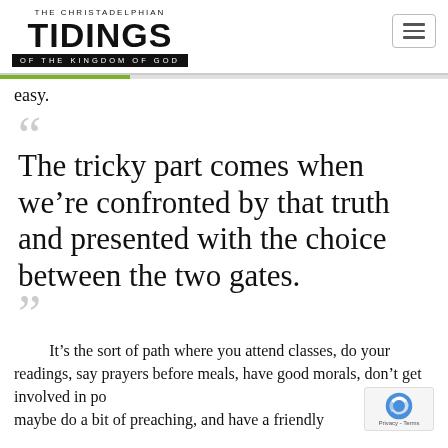THE CHRISTADELPHIAN TIDINGS OF THE KINGDOM OF GOD
easy.
The tricky part comes when we're confronted by that truth and presented with the choice between the two gates.
It's the sort of path where you attend classes, do your readings, say prayers before meals, have good morals, don't get involved in politics, maybe do a bit of preaching, and have a friendly